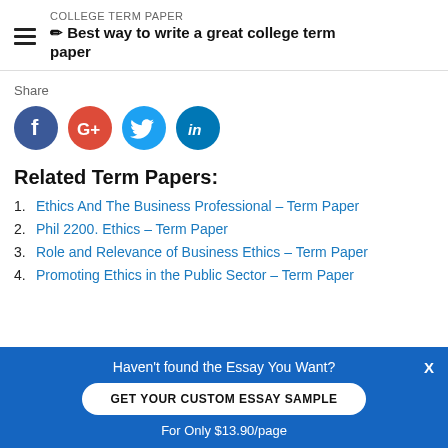COLLEGE TERM PAPER
✏ Best way to write a great college term paper
Share
[Figure (infographic): Four social media share icons: Facebook (blue), Google+ (red), Twitter (light blue), LinkedIn (dark blue)]
Related Term Papers:
Ethics And The Business Professional – Term Paper
Phil 2200. Ethics – Term Paper
Role and Relevance of Business Ethics – Term Paper
Promoting Ethics in the Public Sector – Term Paper
Haven't found the Essay You Want?
GET YOUR CUSTOM ESSAY SAMPLE
For Only $13.90/page